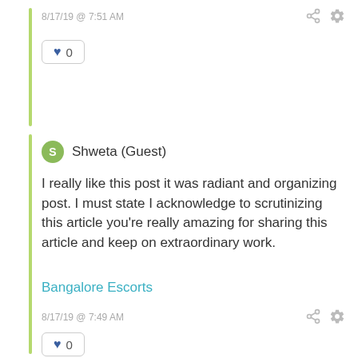8/17/19 @ 7:51 AM
♥ 0
Shweta (Guest)
I really like this post it was radiant and organizing post. I must state I acknowledge to scrutinizing this article you're really amazing for sharing this article and keep on extraordinary work.
Bangalore Escorts
8/17/19 @ 7:49 AM
♥ 0